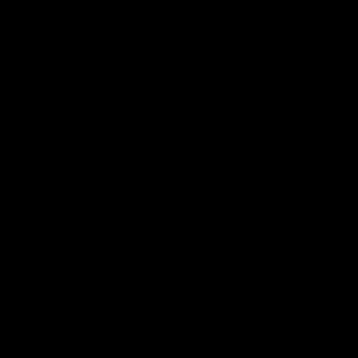plus a few test presses. seems to go for ok money on ebay these days: http://cgi ViewItem My name is Art Zawodny and I played bass on all of them except the